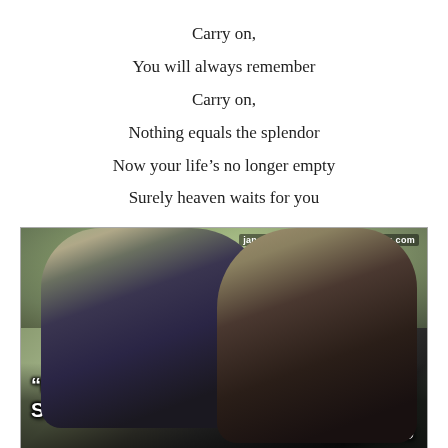Carry on,
You will always remember
Carry on,
Nothing equals the splendor
Now your life's no longer empty
Surely heaven waits for you
[Figure (photo): Two young men facing each other in conversation outdoors with blurred green background. White text overlay reads: "Now your life's no longer empty Surely heaven waits for you." with attribution "-Kansas" in bottom right. Watermark: janeaustenrunsmylife.wordpress.com in top right corner.]